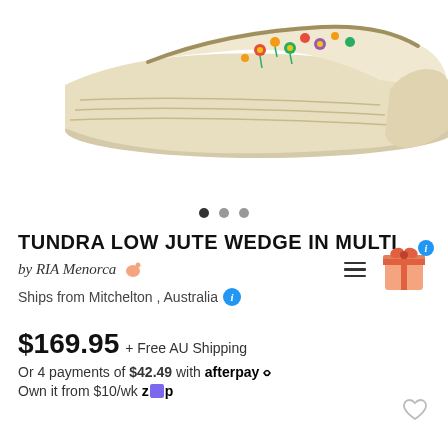[Figure (photo): Product photo of Tundra Low Jute Wedge shoe in multi color, viewed from the side, showing floral embroidery on a beige jute/espadrille wedge shoe.]
TUNDRA LOW JUTE WEDGE IN MULTI
by RIA Menorca 🇦🇺
Ships from Mitchelton , Australia ℹ
$169.95 + Free AU Shipping
Or 4 payments of $42.49 with afterpay
Own it from $10/wk Zip